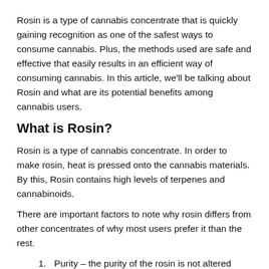Rosin is a type of cannabis concentrate that is quickly gaining recognition as one of the safest ways to consume cannabis. Plus, the methods used are safe and effective that easily results in an efficient way of consuming cannabis. In this article, we'll be talking about Rosin and what are its potential benefits among cannabis users.
What is Rosin?
Rosin is a type of cannabis concentrate. In order to make rosin, heat is pressed onto the cannabis materials. By this, Rosin contains high levels of terpenes and cannabinoids.
There are important factors to note why rosin differs from other concentrates of why most users prefer it than the rest.
Purity – the purity of the rosin is not altered because there are no solvents used, unlike other concentrates. Only heat and pressure are needed.
No Residue – because making rosin doesn't associate itself with other solvents, this type of concentrate is safe to use. Many concentrates need solvents to extract the important